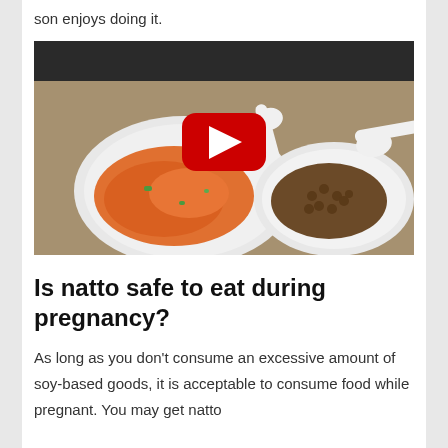son enjoys doing it.
[Figure (screenshot): A video thumbnail showing two white bowls on a woven mat — one with a salad-like orange and green dish, one with dark natto beans and a white plastic spoon — overlaid with a YouTube play button (red rectangle with white triangle).]
Is natto safe to eat during pregnancy?
As long as you don't consume an excessive amount of soy-based goods, it is acceptable to consume food while pregnant. You may get natto